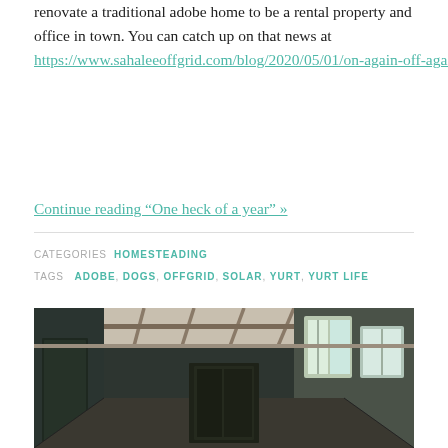renovate a traditional adobe home to be a rental property and office in town. You can catch up on that news at https://www.sahaleeoffgrid.com/blog/2020/05/01/on-again-off-again/.
Continue reading “One heck of a year” »
CATEGORIES HOMESTEADING
TAGS  ADOBE , DOGS , OFFGRID , SOLAR , YURT , YURT LIFE
[Figure (photo): Interior photo of a hallway or porch with exposed beam ceiling, large windows on the right side, dark painted walls on the left, and a door visible at the end. The space appears to be under renovation.]